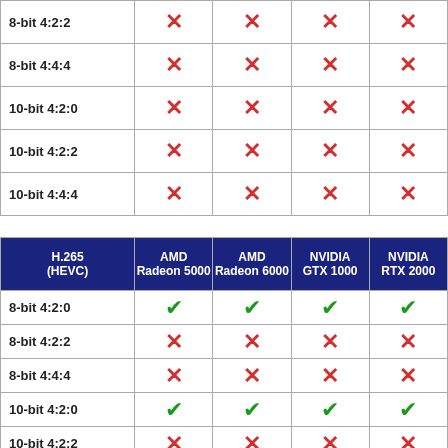| (continued) | AMD Radeon 5000 | AMD Radeon 6000 | NVIDIA GTX 1000 | NVIDIA RTX 2000 |
| --- | --- | --- | --- | --- |
| 8-bit 4:2:2 | ✗ | ✗ | ✗ | ✗ |
| 8-bit 4:4:4 | ✗ | ✗ | ✗ | ✗ |
| 10-bit 4:2:0 | ✗ | ✗ | ✗ | ✗ |
| 10-bit 4:2:2 | ✗ | ✗ | ✗ | ✗ |
| 10-bit 4:4:4 | ✗ | ✗ | ✗ | ✗ |
| H.265 (HEVC) | AMD Radeon 5000 | AMD Radeon 6000 | NVIDIA GTX 1000 | NVIDIA RTX 2000 |
| --- | --- | --- | --- | --- |
| 8-bit 4:2:0 | ✓ | ✓ | ✓ | ✓ |
| 8-bit 4:2:2 | ✗ | ✗ | ✗ | ✗ |
| 8-bit 4:4:4 | ✗ | ✗ | ✗ | ✗ |
| 10-bit 4:2:0 | ✓ | ✓ | ✓ | ✓ |
| 10-bit 4:2:2 | ✗ | ✗ | ✗ | ✗ |